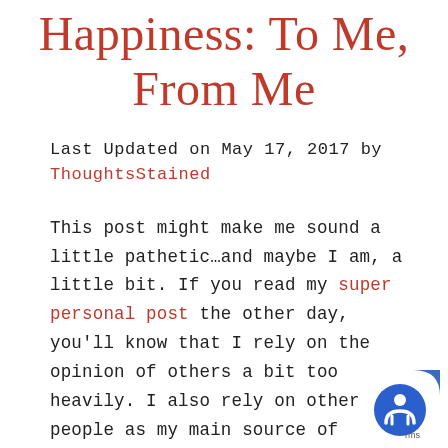Happiness: To Me, From Me
Last Updated on May 17, 2017 by ThoughtsStained
This post might make me sound a little pathetic…and maybe I am, a little bit. If you read my super personal post the other day, you'll know that I rely on the opinion of others a bit too heavily. I also rely on other people as my main source of happiness a bit too much. Not saying that I can't be happy on my own, but
[Figure (other): Accessibility icon badge (circular person symbol on blue background) with partial 'terms' text label]